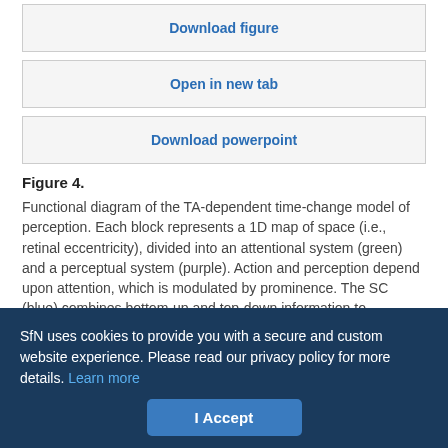[Figure (other): Download figure button box]
[Figure (other): Open in new tab button box]
[Figure (other): Download powerpoint button box]
Figure 4.
Functional diagram of the TA-dependent time-change model of perception. Each block represents a 1D map of space (i.e., retinal eccentricity), divided into an attentional system (green) and a perceptual system (purple). Action and perception depend upon attention, which is modulated by prominence. The SC (blue) combines bottom-up and top-down information to determine which retinotopic locus has the most prominent stimulus for action and perception. Prominence affects the attention gain modulating the visual input to the attention system. Enhanced vision is the common input for the perceptual system (in prefrontal cortex) and for the stimulus priority map (in lateral intraparietal cortex). The priority map selects the target, which leads
SfN uses cookies to provide you with a secure and custom website experience. Please read our privacy policy for more details. Learn more
I Accept